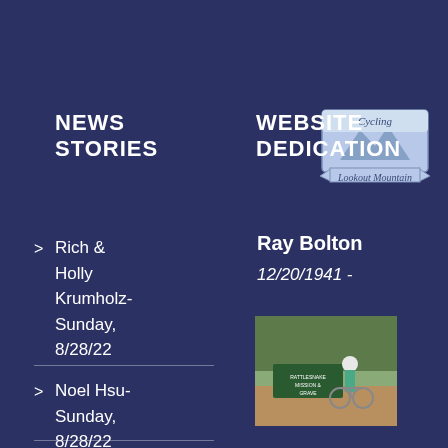NEWS STORIES
WEBSITE DEDICATION
[Figure (logo): Cycling Lookout Mountain badge logo with mountain silhouette]
Rich & Holly Krumholz- Sunday, 8/28/22
Ray Bolton
12/20/1941 - 05/11/2020
[Figure (photo): Photo of a cyclist standing with bicycle in front of a sign, outdoors with trees]
Noel Hsu- Sunday, 8/28/22